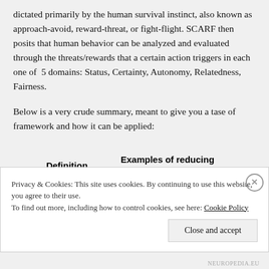dictated primarily by the human survival instinct, also known as approach-avoid, reward-threat, or fight-flight. SCARF then posits that human behavior can be analyzed and evaluated through the threats/rewards that a certain action triggers in each one of 5 domains: Status, Certainty, Autonomy, Relatedness, Fairness.
Below is a very crude summary, meant to give you a tase of framework and how it can be applied:
| Definition | Examples of reducing threats and increasing |
| --- | --- |
Privacy & Cookies: This site uses cookies. By continuing to use this website, you agree to their use.
To find out more, including how to control cookies, see here: Cookie Policy